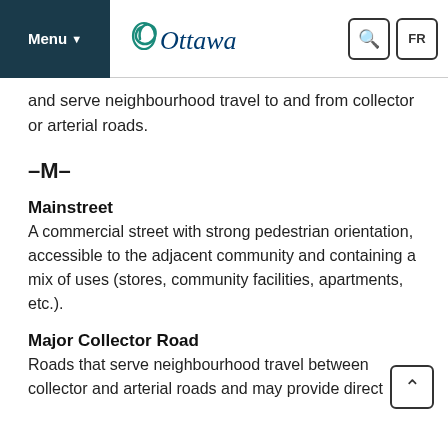Menu | Ottawa | Search | FR
and serve neighbourhood travel to and from collector or arterial roads.
-M-
Mainstreet
A commercial street with strong pedestrian orientation, accessible to the adjacent community and containing a mix of uses (stores, community facilities, apartments, etc.).
Major Collector Road
Roads that serve neighbourhood travel between collector and arterial roads and may provide direct